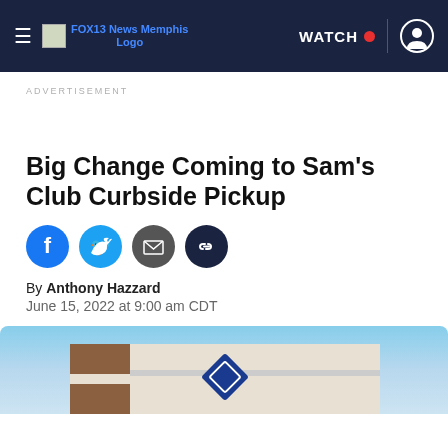FOX13 News Memphis Logo | WATCH | user icon
ADVERTISEMENT
Big Change Coming to Sam's Club Curbside Pickup
[Figure (illustration): Social sharing icons: Facebook (blue), Twitter (cyan), Email (dark gray), Link (dark navy)]
By Anthony Hazzard
June 15, 2022 at 9:00 am CDT
[Figure (photo): Exterior of a Sam's Club store showing the building facade with brick accents and the Sam's Club diamond logo sign against a blue sky]